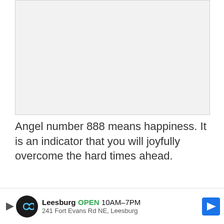[Figure (other): Blank/placeholder image area with light gray background]
Angel number 888 means happiness. It is an indicator that you will joyfully overcome the hard times ahead.
This means that you need to be app... hap... he
[Figure (other): Advertisement bar: Leesburg OPEN 10AM-7PM, 241 Fort Evans Rd NE, Leesburg]